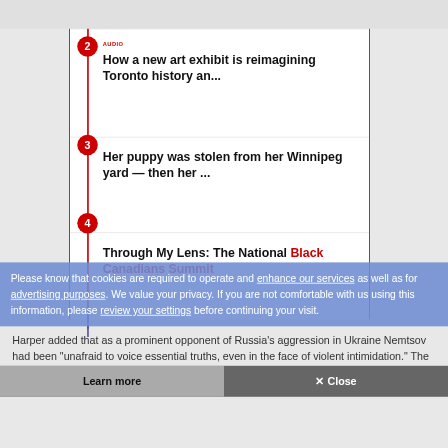2 AUDIO — How a new art exhibit is reimagining Toronto history an...
3 — Her puppy was stolen from her Winnipeg yard — then her ...
4 — Through My Lens: The National Black Canadians Summit
Please know that cookies are required to operate and enhance our services as well as for advertising purposes. We value your privacy. If you are not comfortable with us using this information, please review your settings before continuing your visit.
Harper added that as a prominent opponent of Russia's aggression in Ukraine Nemtsov had been "unafraid to voice essential truths, even in the face of violent intimidation." The statement said those responsible for "this shameful act of violence" must be
Learn more
✕ Close